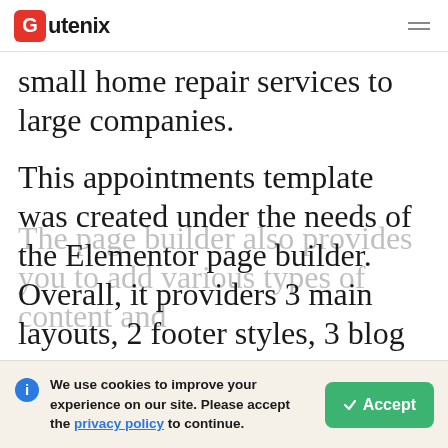Gutenix
small home repair services to large companies.
This appointments template was created under the needs of the Elementor page builder. Overall, it providers 3 main layouts, 2 footer styles, 3 blog styles, and 2 menu styles.
We use cookies to improve your experience on our site. Please accept the privacy policy to continue.